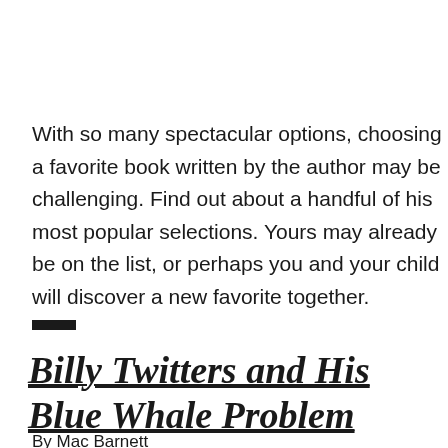With so many spectacular options, choosing a favorite book written by the author may be challenging. Find out about a handful of his most popular selections. Yours may already be on the list, or perhaps you and your child will discover a new favorite together.
Billy Twitters and His Blue Whale Problem
By Mac Barnett